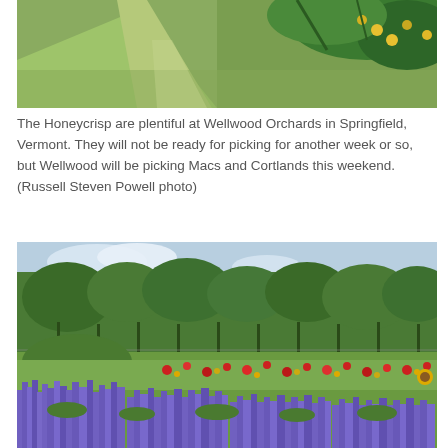[Figure (photo): Top portion of an apple orchard scene showing green grass path and apple tree branches with fruit visible at upper right corner]
The Honeycrisp are plentiful at Wellwood Orchards in Springfield, Vermont. They will not be ready for picking for another week or so, but Wellwood will be picking Macs and Cortlands this weekend. (Russell Steven Powell photo)
[Figure (photo): A scenic orchard view with rows of apple trees in the background, red flowers in the middle ground, and tall purple salvia/lavender flowers in the foreground under a partly cloudy sky]